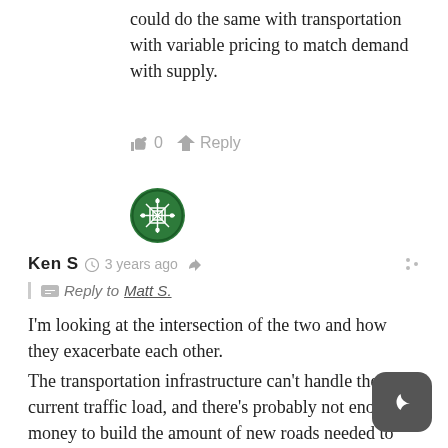could do the same with transportation with variable pricing to match demand with supply.
0   Reply
[Figure (illustration): Green circular avatar with snowflake/lattice pattern for user Ken S]
Ken S  3 years ago
Reply to Matt S.
I'm looking at the intersection of the two and how they exacerbate each other.
The transportation infrastructure can't handle the current traffic load, and there's probably not enough money to build the amount of new roads needed to meet the current and future demands. This is the reality, but most every car ad I've seen in years pitches the idea or image of someone tearing through a
[Figure (illustration): Dark rounded square button with crescent moon icon (dark mode toggle)]